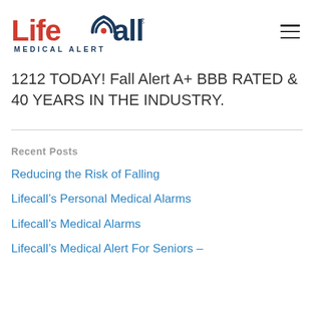[Figure (logo): LifeCall Medical Alert logo — 'Life' in red, 'Call' in dark navy with a signal/alert icon replacing the 'a', 'MEDICAL ALERT' in small navy caps beneath]
1212 TODAY! Fall Alert A+ BBB RATED & 40 YEARS IN THE INDUSTRY.
Recent Posts
Reducing the Risk of Falling
Lifecall's Personal Medical Alarms
Lifecall's Medical Alarms
Lifecall's Medical Alert For Seniors –